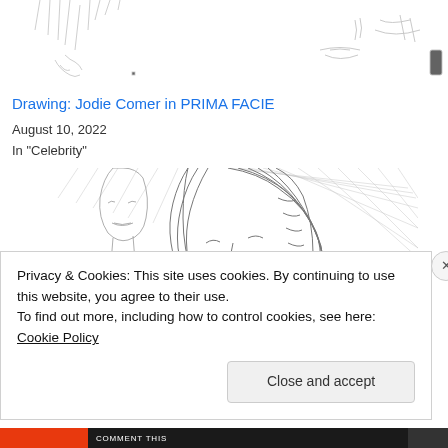[Figure (illustration): Partial pencil sketch drawing of figures, cropped at top of page]
Drawing: Jodie Comer in PRIMA FACIE
August 10, 2022
In "Celebrity"
[Figure (illustration): Pencil sketch drawing of two people, one smiling woman in foreground with bob haircut and another figure behind her]
Privacy & Cookies: This site uses cookies. By continuing to use this website, you agree to their use.
To find out more, including how to control cookies, see here: Cookie Policy
Close and accept
COMMENT THIS